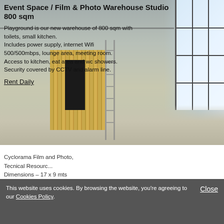Event Space / Film & Photo Warehouse Studio
800 sqm
Playground is our new warehouse of 800 sqm with toilets, small kitchen.
Includes power supply, internet Wifi 500/500mbps, lounge area, meeting room.
Access to kitchen, eat area and wc showers.
Security covered by CCTV and alarm line.
Rent Daily
[Figure (photo): Interior of a large warehouse studio space showing a wooden slatted partition wall, a dark doorway, a ladder leaning against it, and large windows on the right side with a concrete floor.]
Cyclorama Film and Photo
Tecnical Resourc...
Dimensions - 17 x 9 mts
This website uses cookies. By browsing the website, you're agreeing to our Cookies Policy.
Close